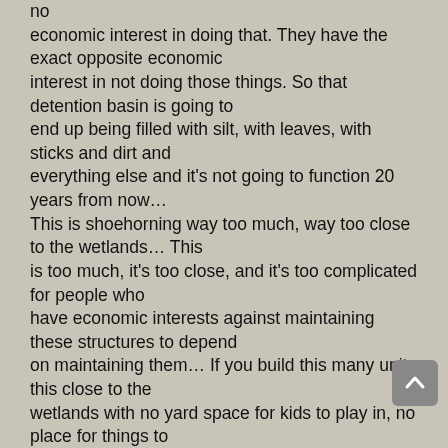no economic interest in doing that. They have the exact opposite economic interest in not doing those things. So that detention basin is going to end up being filled with silt, with leaves, with sticks and dirt and everything else and it's not going to function 20 years from now… This is shoehorning way too much, way too close to the wetlands… This is too much, it's too close, and it's too complicated for people who have economic interests against maintaining these structures to depend on maintaining them… If you build this many units this close to the wetlands with no yard space for kids to play in, no place for things to